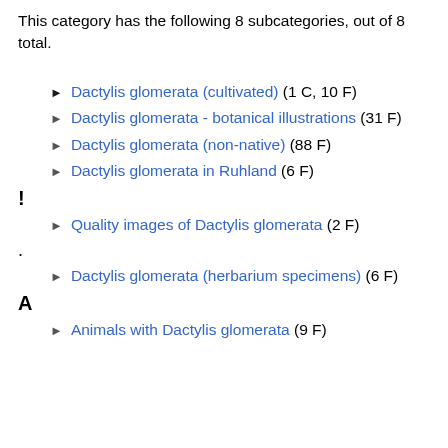This category has the following 8 subcategories, out of 8 total.
Dactylis glomerata (cultivated) (1 C, 10 F)
Dactylis glomerata - botanical illustrations (31 F)
Dactylis glomerata (non-native) (88 F)
Dactylis glomerata in Ruhland (6 F)
!
Quality images of Dactylis glomerata (2 F)
.
Dactylis glomerata (herbarium specimens) (6 F)
A
Animals with Dactylis glomerata (9 F)